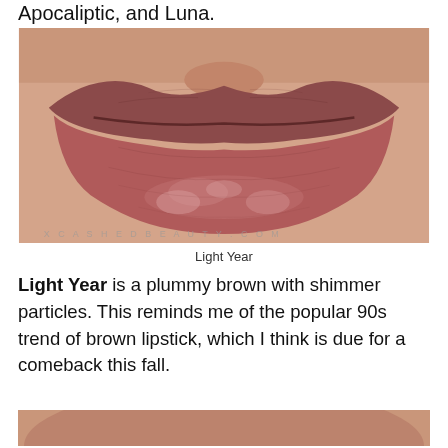Apocaliptic, and Luna.
[Figure (photo): Close-up photo of lips wearing a plummy brown lipstick with shimmer, watermarked with 'XCASHED BEAUTY.COM']
Light Year
Light Year is a plummy brown with shimmer particles. This reminds me of the popular 90s trend of brown lipstick, which I think is due for a comeback this fall.
[Figure (photo): Bottom portion of another lip photo, partially visible]